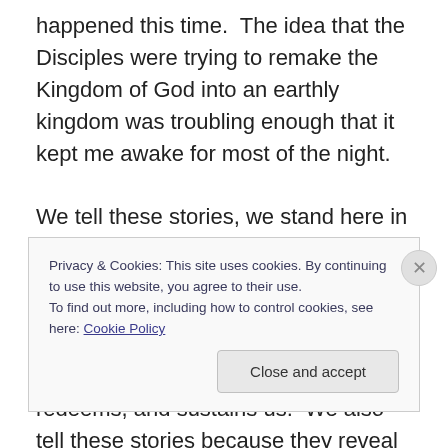happened this time.  The idea that the Disciples were trying to remake the Kingdom of God into an earthly kingdom was troubling enough that it kept me awake for most of the night.

We tell these stories, we stand here in church on Sunday mornings and we “proclaim” the Word of God as our own story. We tell these stories because they help us to know and understand the God who creates, redeems, and sustains us.  We also tell these stories because they reveal deep truths about who we are, about the people
Privacy & Cookies: This site uses cookies. By continuing to use this website, you agree to their use.
To find out more, including how to control cookies, see here: Cookie Policy